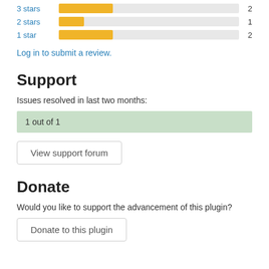[Figure (bar-chart): Star ratings]
Log in to submit a review.
Support
Issues resolved in last two months:
1 out of 1
View support forum
Donate
Would you like to support the advancement of this plugin?
Donate to this plugin